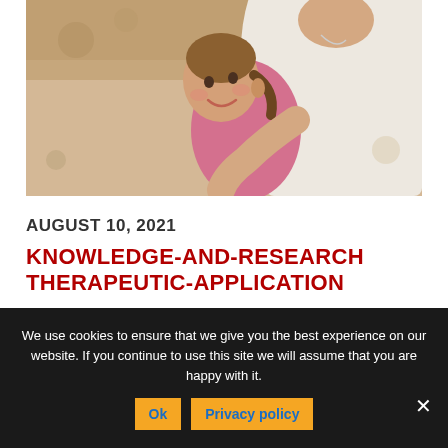[Figure (photo): A young toddler girl with pigtails smiling and looking up at a woman (mother) dressed in white who is holding her.]
AUGUST 10, 2021
KNOWLEDGE-AND-RESEARCH THERAPEUTIC-APPLICATION
We use cookies to ensure that we give you the best experience on our website. If you continue to use this site we will assume that you are happy with it.
Ok  Privacy policy